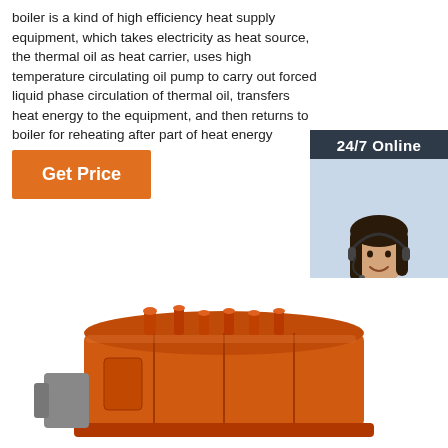boiler is a kind of high efficiency heat supply equipment, which takes electricity as heat source, the thermal oil as heat carrier, uses high temperature circulating oil pump to carry out forced liquid phase circulation of thermal oil, transfers heat energy to the equipment, and then returns to boiler for reheating after part of heat energy
Get Price
24/7 Online
[Figure (photo): Customer service agent, woman with headset smiling]
Click here for free chat !
QUOTATION
[Figure (photo): Industrial orange thermal oil boiler equipment, large metal unit with pipes on top]